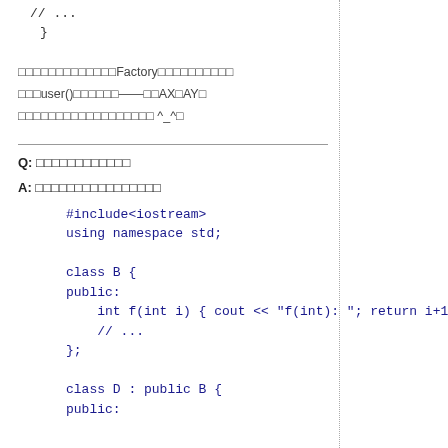// ...
}
（説明文：FactoryパターンについてのCJKテキスト。user()関数について——のAX、AYの説明。^_^）
Q: （質問テキスト）
A: （回答テキスト）
#include<iostream>
using namespace std;

class B {
public:
    int f(int i) { cout << "f(int): "; return i+1; }
    // ...
};

class D : public B {
public: